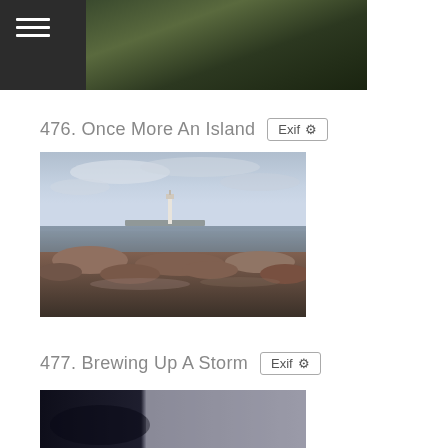≡
[Figure (photo): Aerial or landscape photo of forested hills/mountains with dark green and autumn foliage tones, partially cropped at top of page]
476. Once More An Island
[Figure (photo): Coastal landscape photograph showing a lighthouse on a small island in the distance, rocky foreshore in the foreground with calm water, overcast blue-grey sky, long-exposure style]
477. Brewing Up A Storm
[Figure (photo): Dark stormy coastal or seascape photograph, partially visible at bottom of page, split between very dark left portion and lighter grey right portion]